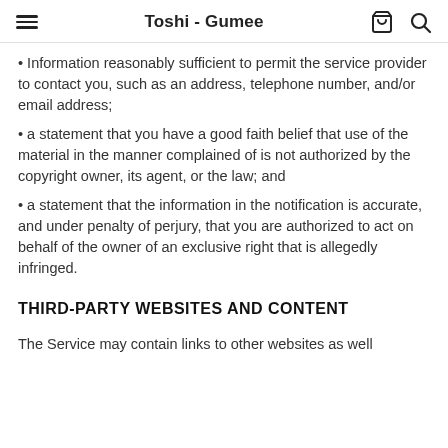Toshi - Gumee
• Information reasonably sufficient to permit the service provider to contact you, such as an address, telephone number, and/or email address;
• a statement that you have a good faith belief that use of the material in the manner complained of is not authorized by the copyright owner, its agent, or the law; and
• a statement that the information in the notification is accurate, and under penalty of perjury, that you are authorized to act on behalf of the owner of an exclusive right that is allegedly infringed.
THIRD-PARTY WEBSITES AND CONTENT
The Service may contain links to other websites as well